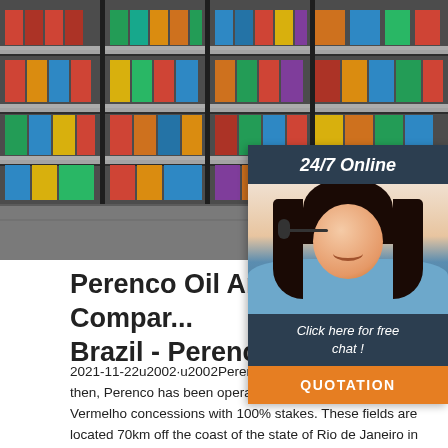[Figure (photo): Photo of store shelves with colorful product packages in a supermarket or convenience store.]
[Figure (photo): Chat widget showing '24/7 Online' header, a female customer service agent wearing a headset, 'Click here for free chat!' text, and an orange QUOTATION button.]
Perenco Oil And Gas Company Brazil - Perenco
2021-11-22u2002·u2002Perenco's activities in Brazil. Since then, Perenco has been operating the Pargo, Carapeba and Vermelho concessions with 100% stakes. These fields are located 70km off the coast of the state of Rio de Janeiro in water 100 meters deep. The Pargo cluster currently produces 5,000 boepd from 6 production